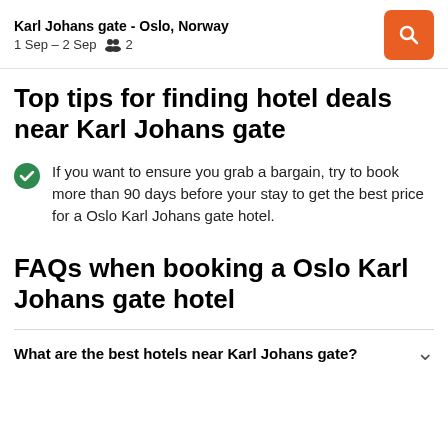Karl Johans gate - Oslo, Norway
1 Sep – 2 Sep  👥 2
Top tips for finding hotel deals near Karl Johans gate
If you want to ensure you grab a bargain, try to book more than 90 days before your stay to get the best price for a Oslo Karl Johans gate hotel.
FAQs when booking a Oslo Karl Johans gate hotel
What are the best hotels near Karl Johans gate?